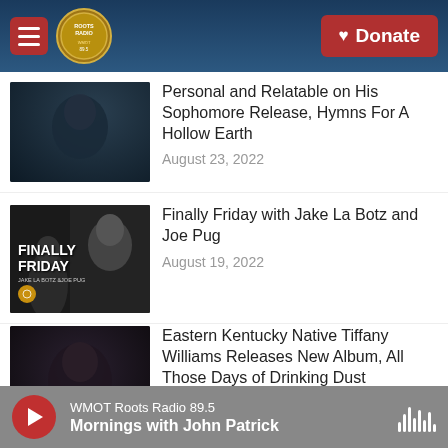Roots Radio | Donate
Personal and Relatable on His Sophomore Release, Hymns For A Hollow Earth
August 23, 2022
Finally Friday with Jake La Botz and Joe Pug
August 19, 2022
Eastern Kentucky Native Tiffany Williams Releases New Album, All Those Days of Drinking Dust
August 19, 2022
Jake La Botz And Joe Pug Bring
WMOT Roots Radio 89.5
Mornings with John Patrick